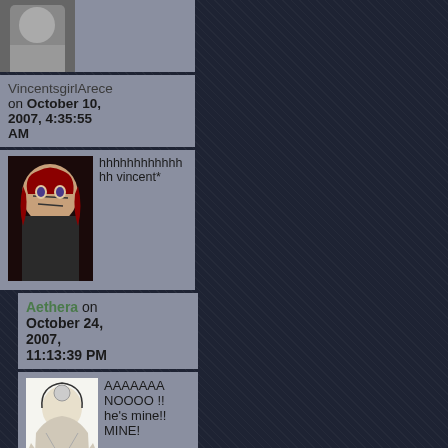[Figure (screenshot): Partial avatar image cropped at top of page]
VincentsgirlArece on October 10, 2007, 4:35:55 AM
[Figure (illustration): Anime character avatar for VincentsgirlArece]
hhhhhhhhhhhhhh vincent*
Aethera on October 24, 2007, 11:13:39 PM
[Figure (illustration): Anime character avatar for Aethera]
AAAAAAA NOOOO !! he's mine!! MINE!
Vincentsgi on